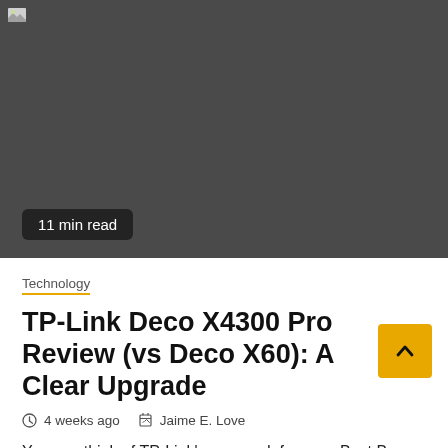[Figure (photo): Dark gray hero image with a broken image icon in the top-left corner and a '11 min read' badge overlaid at the bottom-left]
Technology
TP-Link Deco X4300 Pro Review (vs Deco X60): A Clear Upgrade
4 weeks ago   Jaime E. Love
You can think of TP-Link's new and, for now, Best Buy-